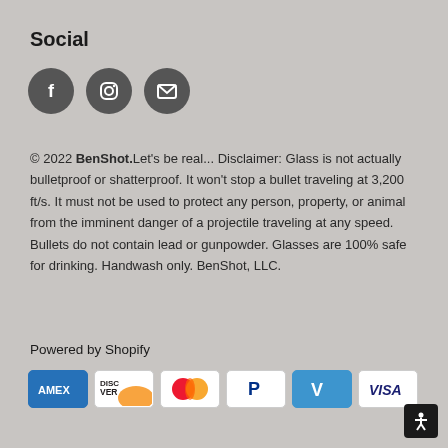Social
[Figure (illustration): Three dark circular social media icons: Facebook (f), Instagram (camera/circle), and Email (envelope)]
© 2022 BenShot.Let's be real... Disclaimer: Glass is not actually bulletproof or shatterproof. It won't stop a bullet traveling at 3,200 ft/s. It must not be used to protect any person, property, or animal from the imminent danger of a projectile traveling at any speed. Bullets do not contain lead or gunpowder. Glasses are 100% safe for drinking. Handwash only. BenShot, LLC.
Powered by Shopify
[Figure (illustration): Payment method icons: American Express (blue), Discover (white/orange), Mastercard (red/orange circles), PayPal (blue P), Venmo (blue V), Visa (white/blue)]
[Figure (illustration): Black accessibility icon (person with arms raised) in bottom right corner]